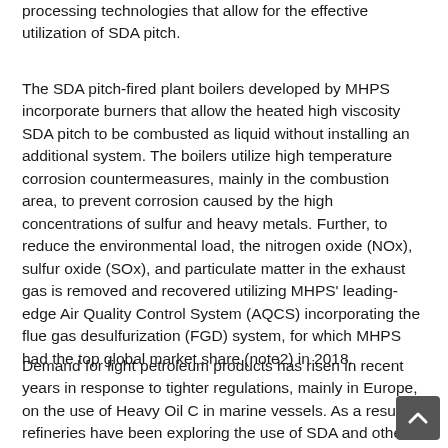processing technologies that allow for the effective utilization of SDA pitch.
The SDA pitch-fired plant boilers developed by MHPS incorporate burners that allow the heated high viscosity SDA pitch to be combusted as liquid without installing an additional system. The boilers utilize high temperature corrosion countermeasures, mainly in the combustion area, to prevent corrosion caused by the high concentrations of sulfur and heavy metals. Further, to reduce the environmental load, the nitrogen oxide (NOx), sulfur oxide (SOx), and particulate matter in the exhaust gas is removed and recovered utilizing MHPS' leading-edge Air Quality Control System (AQCS) incorporating the flue gas desulfurization (FGD) system, for which MHPS had the top global market share (note2) in 2018.
Demand for light petroleum products has risen in recent years in response to tighter regulations, mainly in Europe, on the use of Heavy Oil C in marine vessels. As a result, refineries have been exploring the use of SDA and other residue cracking systems to convert heavy oil to light oil. However, the effective utilization of SDA pitch, a byproduct with limited use applications, has been an issue.